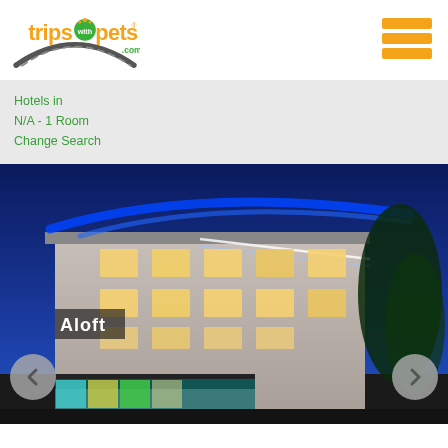[Figure (logo): Trips With Pets logo — orange and green text with road/arc graphic]
[Figure (other): Hamburger menu icon with three orange bars]
Hotels in
N/A - 1 Room
Change Search
[Figure (photo): Exterior night photo of an Aloft hotel building with blue LED lighting and illuminated windows, with navigation arrows on left and right]